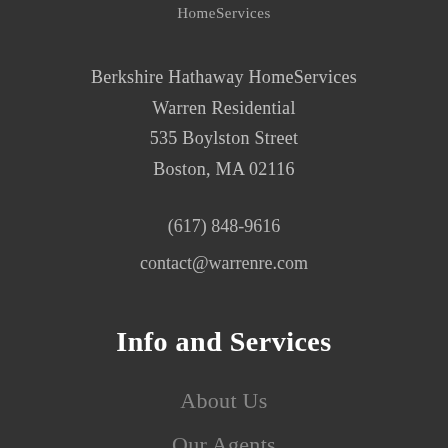HomeServices
Berkshire Hathaway HomeServices
Warren Residential
535 Boylston Street
Boston, MA 02116
(617) 848-9616
contact@warrenre.com
Info and Services
About Us
Our Agents